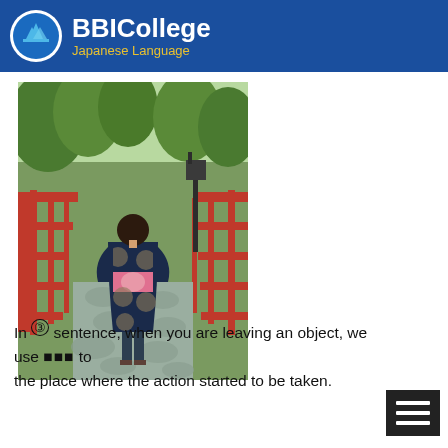BBICollege Japanese Language
[Figure (photo): Woman wearing a dark blue kimono with circular patterns and a pink obi sash, walking away from camera across a stone path on a red wooden bridge in a lush green Japanese garden setting]
In ③ sentence, when you are leaving an object, we use ■■■ to the place where the action started to be taken.